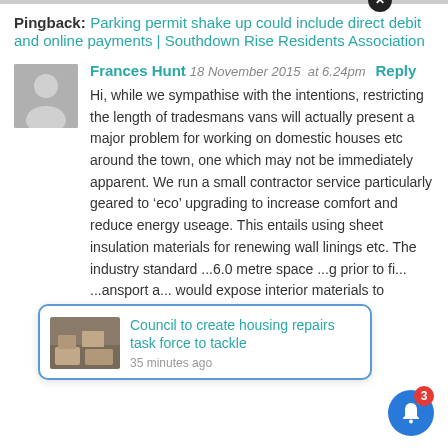Pingback: Parking permit shake up could include direct debit and online payments | Southdown Rise Residents Association
Frances Hunt 18 November 2015 at 6.24pm Reply
Hi, while we sympathise with the intentions, restricting the length of tradesmans vans will actually present a major problem for working on domestic houses etc around the town, one which may not be immediately apparent. We run a small contractor service particularly geared to ‘eco’ upgrading to increase comfort and reduce energy useage. This entails using sheet insulation materials for renewing wall linings etc. The industry standard ...6.0 metre space ...g prior to fi... ...ansport a... would expose interior materials to weather damage.
Council to create housing repairs task force to tackle
35 minutes ago